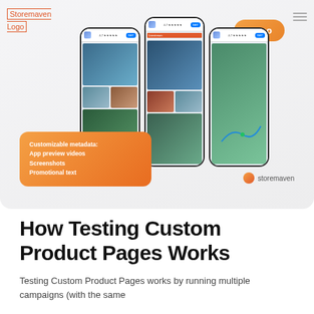[Figure (screenshot): Hero section showing three iPhone mockups displaying an outdoor/navigation app, with a Demo badge in orange, an orange info card listing 'Customizable metadata: App preview videos, Screenshots, Promotional text', and a Storemaven logo/brand mark in the bottom right of the hero area.]
How Testing Custom Product Pages Works
Testing Custom Product Pages works by running multiple campaigns (with the same